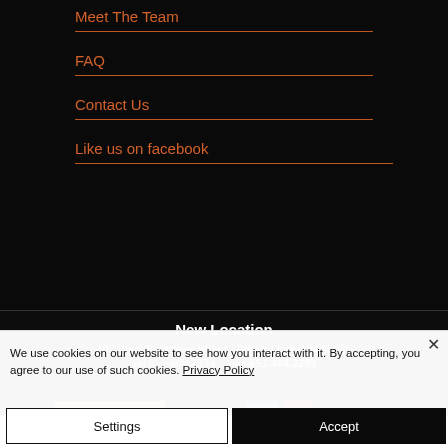Meet The Team
FAQ
Contact Us
Like us on facebook
New Location
407 West Broadway Street - Forest Lake, MN 55025
Tel 651.408.3174   Fax 651.464.2289
We use cookies on our website to see how you interact with it. By accepting, you agree to our use of such cookies. Privacy Policy
Settings
Accept